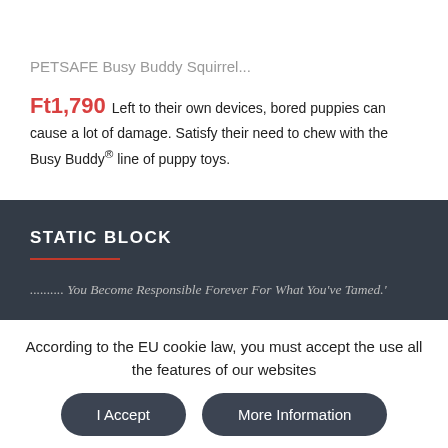PETSAFE Busy Buddy Squirrel...
Ft1,790 Left to their own devices, bored puppies can cause a lot of damage. Satisfy their need to chew with the Busy Buddy® line of puppy toys.
STATIC BLOCK
.......... You Become Responsible Forever For What You've Tamed.'
According to the EU cookie law, you must accept the use all the features of our websites
I Accept | More Information